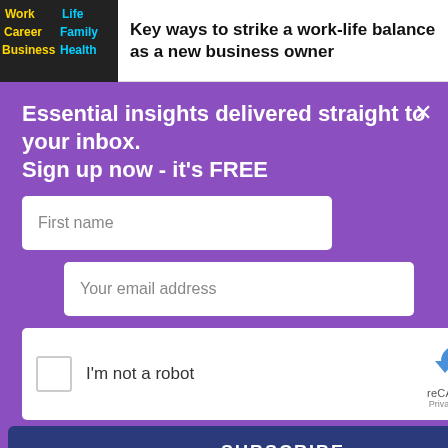Key ways to strike a work-life balance as a new business owner
Essential insights delivered straight to your inbox.
Sign up now - it's FREE
[Figure (screenshot): Email signup form with First name field, Your email address field, reCAPTCHA checkbox widget, and SUBSCRIBE button on purple background]
By submitting your details you confirm you have read our T&Cs and privacy policy.